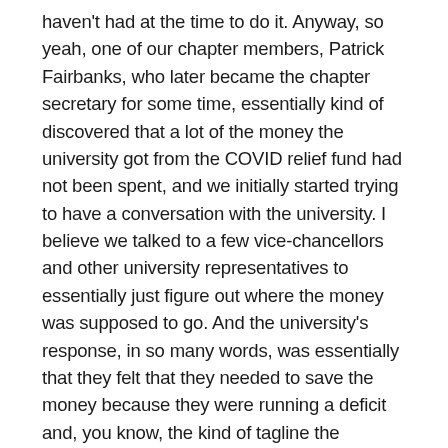haven't had at the time to do it. Anyway, so yeah, one of our chapter members, Patrick Fairbanks, who later became the chapter secretary for some time, essentially kind of discovered that a lot of the money the university got from the COVID relief fund had not been spent, and we initially started trying to have a conversation with the university. I believe we talked to a few vice-chancellors and other university representatives to essentially just figure out where the money was supposed to go. And the university's response, in so many words, was essentially that they felt that they needed to save the money because they were running a deficit and, you know, the kind of tagline the catchphrase that, that administration uses whenever they have to justify this sort of thing is, oh, budget cuts. We're not getting as much money as we used to from the state, etc. So when we brought it up to the vice-chancellor, she essentially said the reason the money hasn't been spent is because